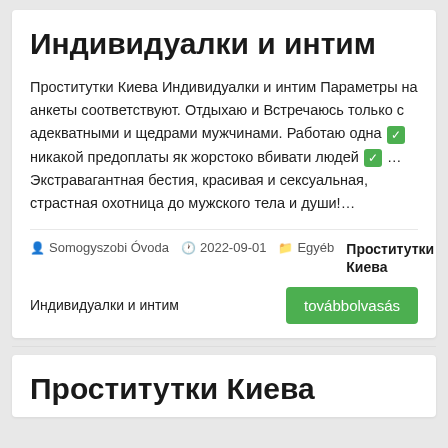Индивидуалки и интим
Проститутки Киева Индивидуалки и интим Параметры на анкеты соответствуют. Отдыхаю и Встречаюсь только с адекватными и щедрами мужчинами. Работаю одна ✅ никакой предоплаты як жорстоко вбивати людей ✅ … Экстравагантная бестия, красивая и сексуальная, страстная охотница до мужского тела и души!…
Somogyszobi Óvoda   2022-09-01   Egyéb   Проститутки Киева
Индивидуалки и интим
Проститутки Киева